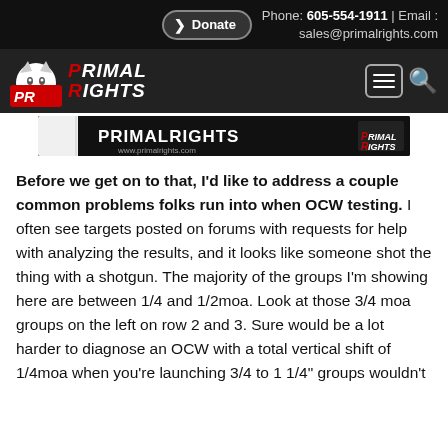Donate | Phone: 605-554-1911 | Email: sales@primalrights.com
[Figure (logo): Primal Rights logo with wolf mascot and navigation bar]
[Figure (photo): Primal Rights banner image showing primalrights.com branding]
Before we get on to that, I'd like to address a couple common problems folks run into when OCW testing. I often see targets posted on forums with requests for help with analyzing the results, and it looks like someone shot the thing with a shotgun. The majority of the groups I'm showing here are between 1/4 and 1/2moa. Look at those 3/4 moa groups on the left on row 2 and 3. Sure would be a lot harder to diagnose an OCW with a total vertical shift of 1/4moa when you're launching 3/4 to 1 1/4" groups wouldn't